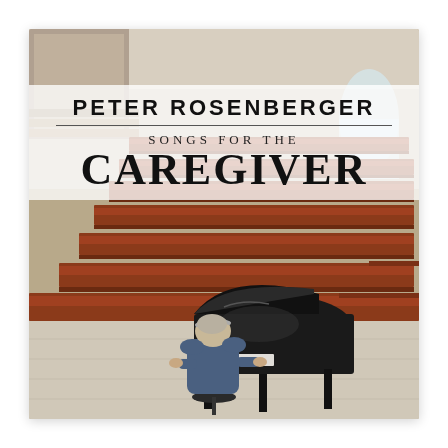[Figure (photo): Album cover for 'Songs for the Caregiver' by Peter Rosenberger. A man sits at a grand piano in an empty church sanctuary with rows of wooden pews visible. A semi-transparent white banner overlays the upper portion with the artist name and album title text.]